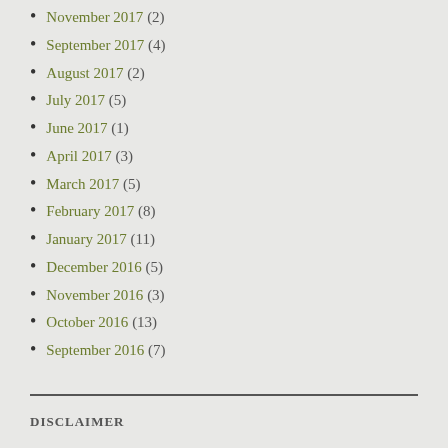November 2017 (2)
September 2017 (4)
August 2017 (2)
July 2017 (5)
June 2017 (1)
April 2017 (3)
March 2017 (5)
February 2017 (8)
January 2017 (11)
December 2016 (5)
November 2016 (3)
October 2016 (13)
September 2016 (7)